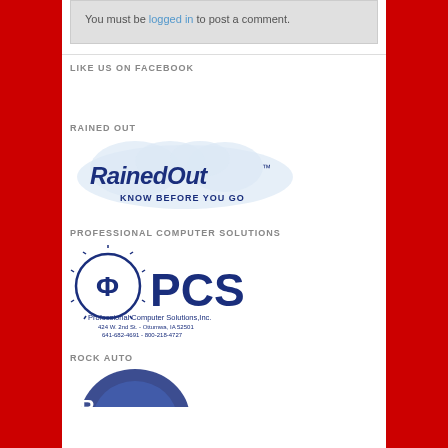You must be logged in to post a comment.
LIKE US ON FACEBOOK
RAINED OUT
[Figure (logo): RainedOut logo with cloud graphic and tagline KNOW BEFORE YOU GO]
PROFESSIONAL COMPUTER SOLUTIONS
[Figure (logo): Professional Computer Solutions, Inc. logo with PCS text and company address: 424 W. 2nd St. - Ottumwa, IA 52501, 641-682-4691 - 800-218-4727]
ROCK AUTO
[Figure (logo): Rock Auto logo partially visible at bottom]